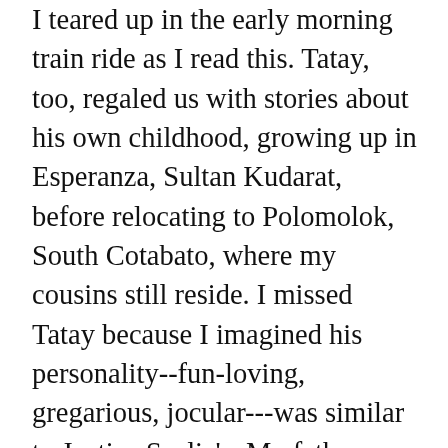I teared up in the early morning train ride as I read this. Tatay, too, regaled us with stories about his own childhood, growing up in Esperanza, Sultan Kudarat, before relocating to Polomolok, South Cotabato, where my cousins still reside. I missed Tatay because I imagined his personality--fun-loving, gregarious, jocular---was similar to Justice Scalia's. My father wasn't quite as articulate, of course--he asked me to draft his speeches for him, usually for